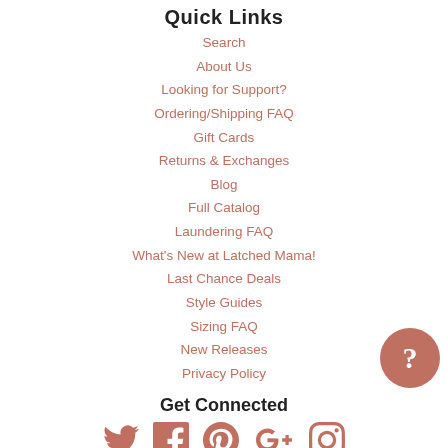Quick Links
Search
About Us
Looking for Support?
Ordering/Shipping FAQ
Gift Cards
Returns & Exchanges
Blog
Full Catalog
Laundering FAQ
What's New at Latched Mama!
Last Chance Deals
Style Guides
Sizing FAQ
New Releases
Privacy Policy
Get Connected
[Figure (infographic): Social media icons: Twitter, Facebook, Pinterest, Google+, Instagram, and a help bubble with question mark]